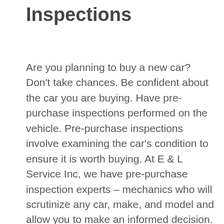Inspections
Are you planning to buy a new car? Don't take chances. Be confident about the car you are buying. Have pre-purchase inspections performed on the vehicle. Pre-purchase inspections involve examining the car's condition to ensure it is worth buying. At E & L Service Inc, we have pre-purchase inspection experts – mechanics who will scrutinize any car, make, and model and allow you to make an informed decision. Pre-purchase inspections will definitely give you peace of mind when you